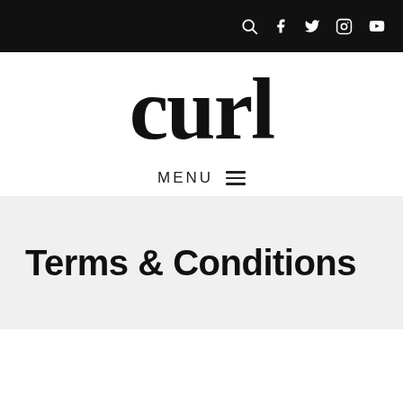curl — navigation bar with search, facebook, twitter, instagram, youtube icons
curl
MENU ≡
Terms & Conditions